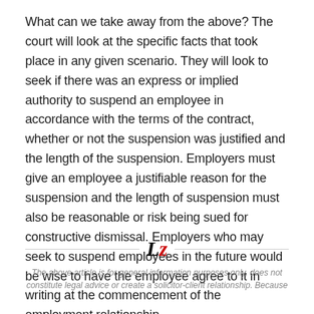What can we take away from the above? The court will look at the specific facts that took place in any given scenario. They will look to seek if there was an express or implied authority to suspend an employee in accordance with the terms of the contract, whether or not the suspension was justified and the length of the suspension. Employers must give an employee a justifiable reason for the suspension and the length of suspension must also be reasonable or risk being sued for constructive dismissal. Employers who may seek to suspend employees in the future would be wise to have the employee agree to it in writing at the commencement of the employment relationship.
[Figure (logo): Logo with stylized 'Lz' letters, L in black and z in red, flanked by horizontal divider lines]
The above article is for general information purposes only, does not constitute legal advice or create a solicitor-client relationship. Because